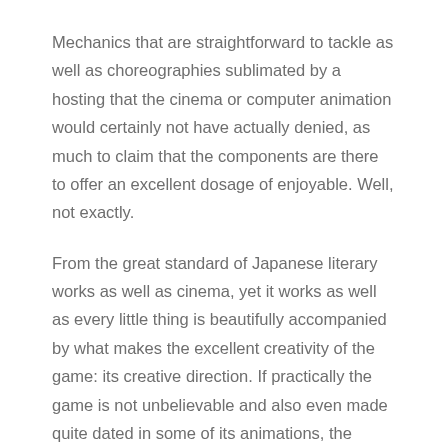Mechanics that are straightforward to tackle as well as choreographies sublimated by a hosting that the cinema or computer animation would certainly not have actually denied, as much to claim that the components are there to offer an excellent dosage of enjoyable. Well, not exactly.
From the great standard of Japanese literary works as well as cinema, yet it works as well as every little thing is beautifully accompanied by what makes the excellent creativity of the game: its creative direction. If practically the game is not unbelievable and also even made quite dated in some of its animations, the artistic instructions is stunning. And also if the sets are repetitively repeated in spite of some dazzling creativity in the Kingdom of the Dead, it never ever goes to disgust and the